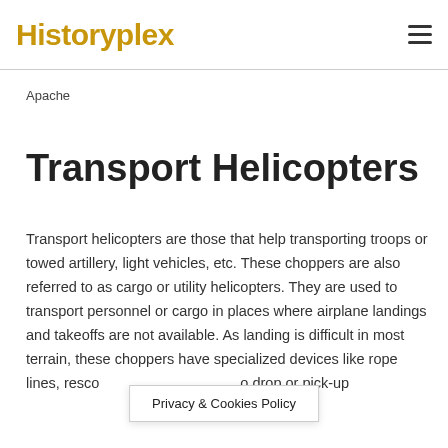Historyplex
Apache
Transport Helicopters
Transport helicopters are those that help transporting troops or towed artillery, light vehicles, etc. These choppers are also referred to as cargo or utility helicopters. They are used to transport personnel or cargo in places where airplane landings and takeoffs are not available. As landing is difficult in most terrain, these choppers have specialized devices like rope lines, resc… to drop or pick-up
Privacy & Cookies Policy